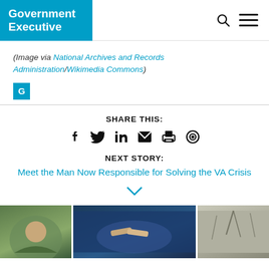Government Executive
(Image via National Archives and Records Administration/Wikimedia Commons)
SHARE THIS:
NEXT STORY:
Meet the Man Now Responsible for Solving the VA Crisis
[Figure (photo): Three thumbnail images at bottom of page: person outdoors, handshake, bare trees]